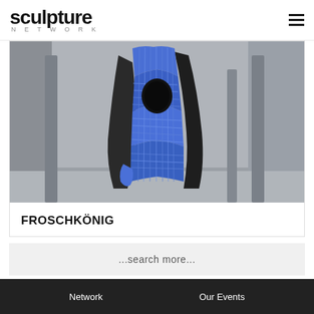sculpture NETWORK
[Figure (photo): A tall abstract sculpture with blue textured mosaic-like surface and a circular hole near the top, photographed in an industrial or concrete interior space. The sculpture has dark and blue forms.]
FROSCHKÖNIG
...search more...
Network   Our Events